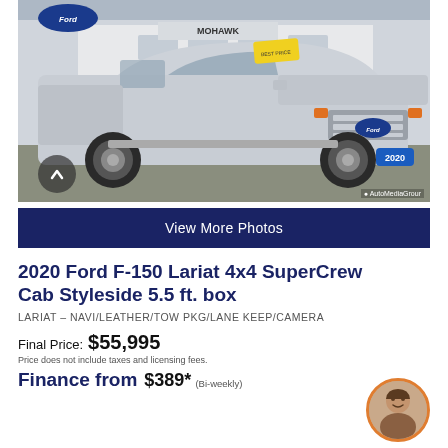[Figure (photo): 2020 Ford F-150 Lariat silver truck parked at Mohawk Ford dealership lot, facing right, sunny day]
View More Photos
2020 Ford F-150 Lariat 4x4 SuperCrew Cab Styleside 5.5 ft. box
LARIAT – NAVI/LEATHER/TOW PKG/LANE KEEP/CAMERA
Final Price: $55,995
Price does not include taxes and licensing fees.
Finance from $389* (Bi-weekly)